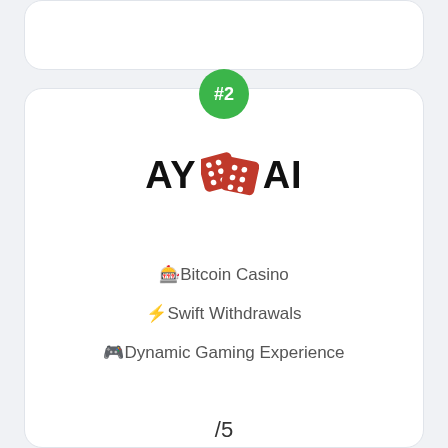[Figure (other): Top card partial view (rounded card, white background)]
[Figure (logo): AY dice AI logo - casino brand logo with red dice graphic between text]
🎰Bitcoin Casino
⚡Swift Withdrawals
🎮Dynamic Gaming Experience
/5
[Figure (other): 5 stars rating row: 4 filled gold stars and 1 empty gold star]